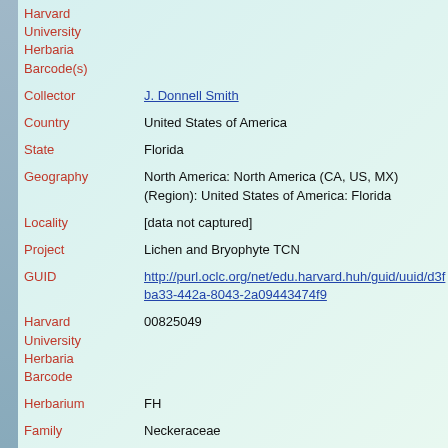| Field | Value |
| --- | --- |
| Harvard University Herbaria Barcode(s) |  |
| Collector | J. Donnell Smith |
| Country | United States of America |
| State | Florida |
| Geography | North America: North America (CA, US, MX) (Region): United States of America: Florida |
| Locality | [data not captured] |
| Project | Lichen and Bryophyte TCN |
| GUID | http://purl.oclc.org/net/edu.harvard.huh/guid/uuid/d3f...ba33-442a-8043-2a09443474f9 |
| Harvard University Herbaria Barcode | 00825049 |
| Herbarium | FH |
| Family | Neckeraceae |
| Determination | Neckeropsis disticha (Hedwig) Kindberg |
| Determination Remarks | [is filed under name] [is Current name] |
| Sex | not determined |